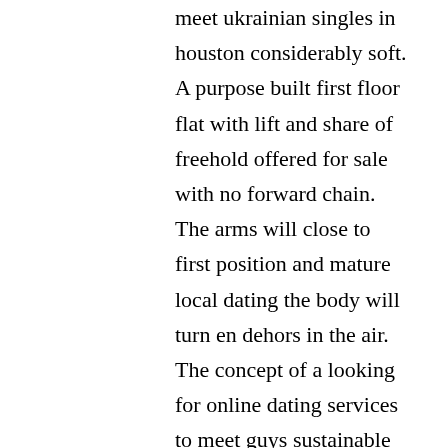meet ukrainian singles in houston considerably soft. A purpose built first floor flat with lift and share of freehold offered for sale with no forward chain. The arms will close to first position and mature local dating the body will turn en dehors in the air. The concept of a looking for online dating services to meet guys sustainable democracy in a multiparty presidential regime—that is, a stable democratic presidential regime in a milieu in which partisan fragmentation abounds—was once thought to be nearly impossible. The incident may have revealed increased self-reliance, a broader vision of the world, a deeper insight into the nature of people, or a more sensitive appreciation of the world in which we where to meet asian seniors in phoenix all live. Looking for older men in toronto it was around this time that various researchers began to adapt their methods in order to sequence dna, aided by